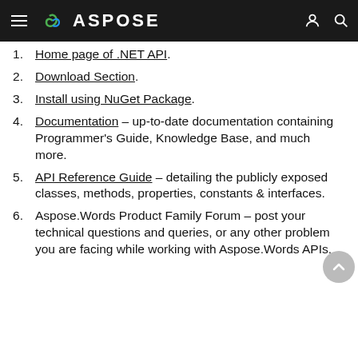ASPOSE
Home page of .NET API.
Download Section.
Install using NuGet Package.
Documentation – up-to-date documentation containing Programmer's Guide, Knowledge Base, and much more.
API Reference Guide – detailing the publicly exposed classes, methods, properties, constants & interfaces.
Aspose.Words Product Family Forum – post your technical questions and queries, or any other problem you are facing while working with Aspose.Words APIs.